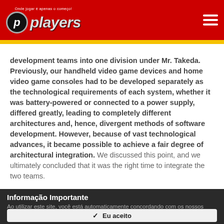players — Onde jogar é apenas o começo!
development teams into one division under Mr. Takeda. Previously, our handheld video game devices and home video game consoles had to be developed separately as the technological requirements of each system, whether it was battery-powered or connected to a power supply, differed greatly, leading to completely different architectures and, hence, divergent methods of software development. However, because of vast technological advances, it became possible to achieve a fair degree of architectural integration. We discussed this point, and we ultimately concluded that it was the right time to integrate the two teams.
Informação Importante
Ao utilizar este site, você está automaticamente concordando com os nossos Termos de Uso e regras..
✓ Eu aceito